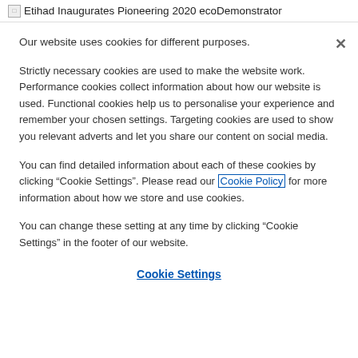Etihad Inaugurates Pioneering 2020 ecoDemonstrator
Our website uses cookies for different purposes.
Strictly necessary cookies are used to make the website work. Performance cookies collect information about how our website is used. Functional cookies help us to personalise your experience and remember your chosen settings. Targeting cookies are used to show you relevant adverts and let you share our content on social media.
You can find detailed information about each of these cookies by clicking “Cookie Settings”. Please read our Cookie Policy for more information about how we store and use cookies.
You can change these setting at any time by clicking “Cookie Settings” in the footer of our website.
Cookie Settings